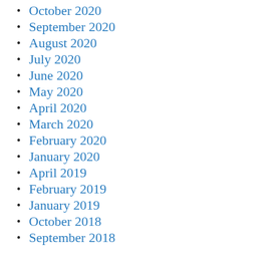October 2020
September 2020
August 2020
July 2020
June 2020
May 2020
April 2020
March 2020
February 2020
January 2020
April 2019
February 2019
January 2019
October 2018
September 2018